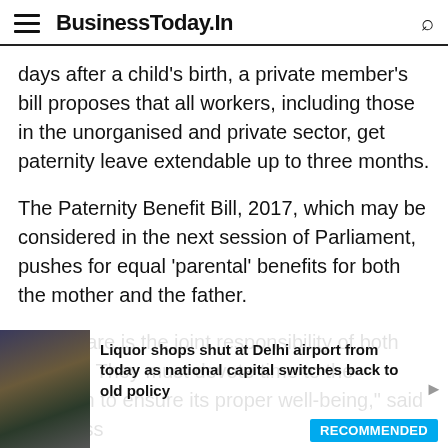BusinessToday.In
days after a child's birth, a private member's bill proposes that all workers, including those in the unorganised and private sector, get paternity leave extendable up to three months.
The Paternity Benefit Bill, 2017, which may be considered in the next session of Parliament, pushes for equal 'parental' benefits for both the mother and the father.
"Child care is the joint responsibility of both parents. They must devote time to the newborn to ensure its proper well-being," said Congress
Liquor shops shut at Delhi airport from today as national capital switches back to old policy
RECOMMENDED